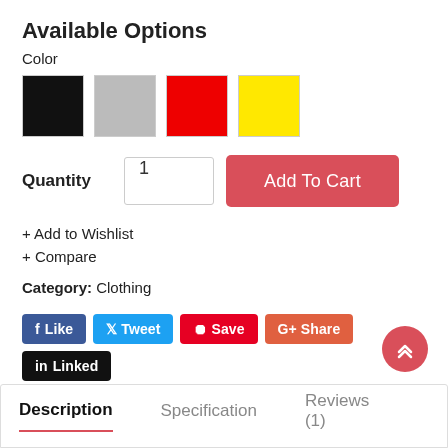Available Options
Color
[Figure (other): Four color swatches: black, gray, red, yellow]
Quantity  1  Add To Cart
+ Add to Wishlist
+ Compare
Category:  Clothing
[Figure (other): Social share buttons: Like, Tweet, Save, Share, Linked]
[Figure (other): Scroll to top red circular button with chevrons]
Description   Specification   Reviews (1)